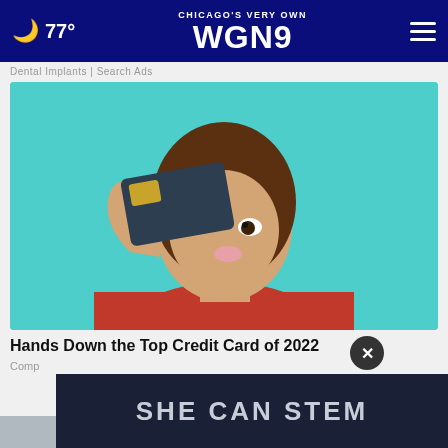🌙 77° | CHICAGO'S VERY OWN WGN9
Dental Implants | Search Ads
[Figure (photo): Woman in red turtleneck sweater against teal background, holding a dark credit card in front of her eye, posed playfully]
Hands Down the Top Credit Card of 2022
Comp
[Figure (other): Dark banner overlay with bold text reading SHE CAN STEM]